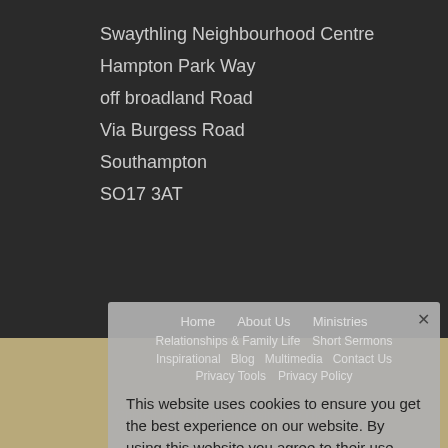Swaythling Neighbourhood Centre
Hampton Park Way
off broadland Road
Via Burgess Road
Southampton
SO17 3AT
Home   About Us   Ministries
Relationships & Family Life   Short Sermons
Inspirational   Blog   Multimedia   Contact Us
Privacy Tools   Privacy Policy
This website uses cookies to ensure you get the best experience on our website. By using this website you agree to their use.
Decline
Accept
Church and Charity Websites by UKC